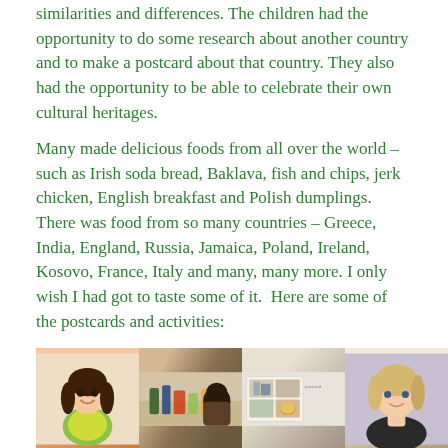similarities and differences. The children had the opportunity to do some research about another country and to make a postcard about that country. They also had the opportunity to be able to celebrate their own cultural heritages.
Many made delicious foods from all over the world – such as Irish soda bread, Baklava, fish and chips, jerk chicken, English breakfast and Polish dumplings. There was food from so many countries – Greece, India, England, Russia, Jamaica, Poland, Ireland, Kosovo, France, Italy and many, many more. I only wish I had got to taste some of it.  Here are some of the postcards and activities:
[Figure (photo): Four photographs of children and their cultural heritage activities. Left: a smiling girl in a yellow and green outfit. Second: a child with dark hair seen from behind. Third: a table with food items and a postcard/display board. Fourth: a young girl with light hair looking at the camera.]